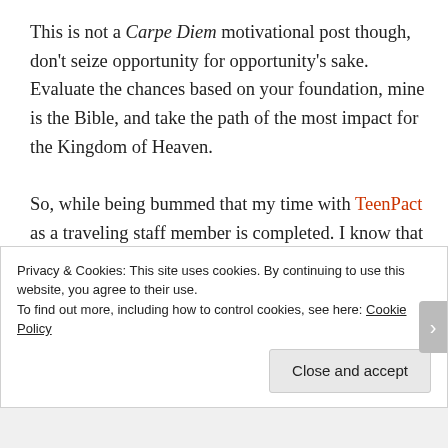This is not a Carpe Diem motivational post though, don't seize opportunity for opportunity's sake. Evaluate the chances based on your foundation, mine is the Bible, and take the path of the most impact for the Kingdom of Heaven.

So, while being bummed that my time with TeenPact as a traveling staff member is completed. I know that I took the opportunity
Privacy & Cookies: This site uses cookies. By continuing to use this website, you agree to their use.
To find out more, including how to control cookies, see here: Cookie Policy

Close and accept